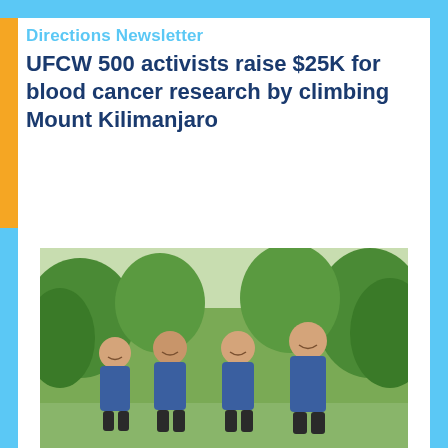Directions Newsletter
UFCW 500 activists raise $25K for blood cancer research by climbing Mount Kilimanjaro
[Figure (photo): Four people wearing matching blue t-shirts standing together outdoors in a green forested setting, smiling at the camera.]